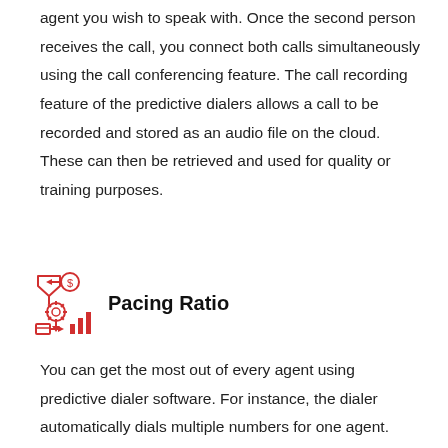agent you wish to speak with. Once the second person receives the call, you connect both calls simultaneously using the call conferencing feature. The call recording feature of the predictive dialers allows a call to be recorded and stored as an audio file on the cloud. These can then be retrieved and used for quality or training purposes.
[Figure (illustration): Red icon showing a funnel, dollar coin, gear/settings cog, downward arrow, box/package, right arrow, and bar chart — representing automation/dialer workflow.]
Pacing Ratio
You can get the most out of every agent using predictive dialer software. For instance, the dialer automatically dials multiple numbers for one agent. Usually, it occurs when an agent is